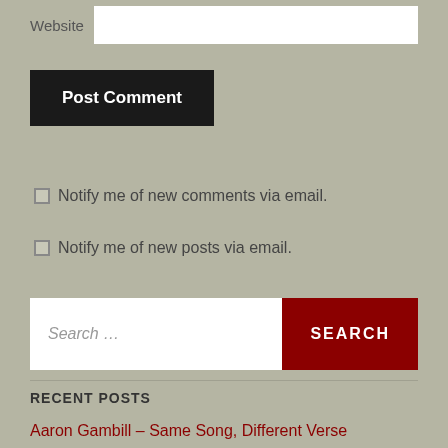Website
Post Comment
Notify me of new comments via email.
Notify me of new posts via email.
Search …
SEARCH
RECENT POSTS
Aaron Gambill – Same Song, Different Verse